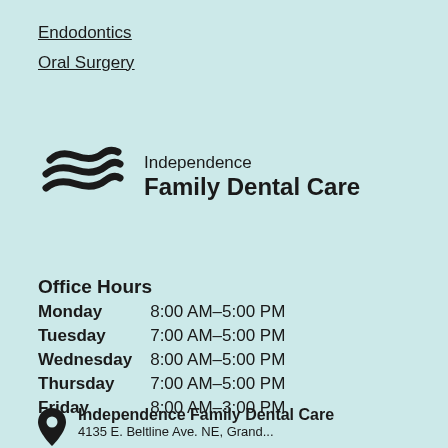Endodontics
Oral Surgery
[Figure (logo): Independence Family Dental Care logo with stylized double-wave S mark on the left and text 'Independence Family Dental Care' on the right]
Office Hours
| Day | Hours |
| --- | --- |
| Monday | 8:00 AM–5:00 PM |
| Tuesday | 7:00 AM–5:00 PM |
| Wednesday | 8:00 AM–5:00 PM |
| Thursday | 7:00 AM–5:00 PM |
| Friday | 8:00 AM–3:00 PM |
Independence Family Dental Care